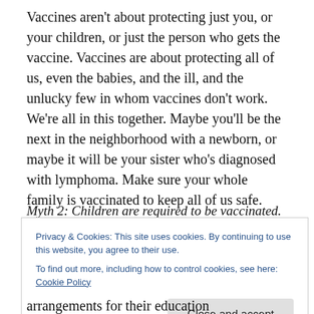Vaccines aren't about protecting just you, or your children, or just the person who gets the vaccine. Vaccines are about protecting all of us, even the babies, and the ill, and the unlucky few in whom vaccines don't work. We're all in this together. Maybe you'll be the next in the neighborhood with a newborn, or maybe it will be your sister who's diagnosed with lymphoma. Make sure your whole family is vaccinated to keep all of us safe.
Myth 2: Children are required to be vaccinated.
Privacy & Cookies: This site uses cookies. By continuing to use this website, you agree to their use.
To find out more, including how to control cookies, see here: Cookie Policy
arrangements for their education